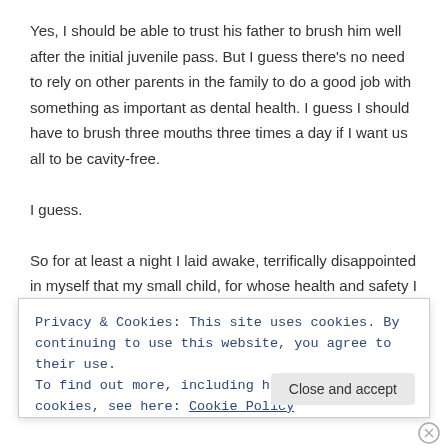Yes, I should be able to trust his father to brush him well after the initial juvenile pass. But I guess there's no need to rely on other parents in the family to do a good job with something as important as dental health. I guess I should have to brush three mouths three times a day if I want us all to be cavity-free.

I guess.

So for at least a night I laid awake, terrifically disappointed in myself that my small child, for whose health and safety I am wholly responsible, will for his entire life have two molars that have been drilled and filled with foreign substances. And that will probably, in decades, need to be further drilled and additionally filled. It's my fault
Privacy & Cookies: This site uses cookies. By continuing to use this website, you agree to their use.
To find out more, including how to control cookies, see here: Cookie Policy